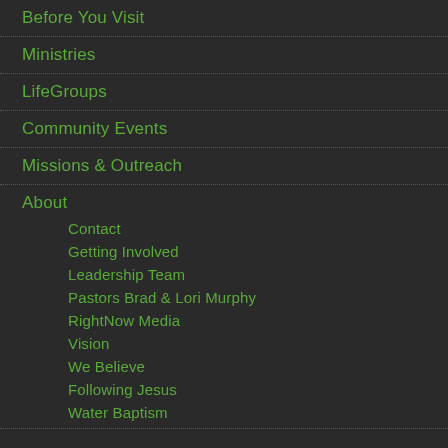Before You Visit
Ministries
LifeGroups
Community Events
Missions & Outreach
About
Contact
Getting Involved
Leadership Team
Pastors Brad & Lori Murphy
RightNow Media
Vision
We Believe
Following Jesus
Water Baptism